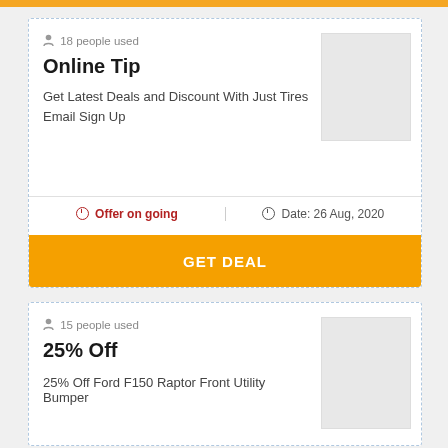[Figure (other): Orange horizontal bar at top of page]
18 people used
Online Tip
Get Latest Deals and Discount With Just Tires Email Sign Up
Offer on going
Date: 26 Aug, 2020
GET DEAL
15 people used
25% Off
25% Off Ford F150 Raptor Front Utility Bumper